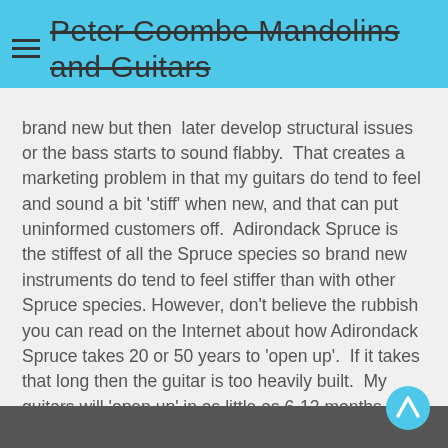Peter Coombe Mandolins and Guitars
brand new but then later develop structural issues or the bass starts to sound flabby.  That creates a marketing problem in that my guitars do tend to feel and sound a bit 'stiff' when new, and that can put uninformed customers off.  Adirondack Spruce is the stiffest of all the Spruce species so brand new instruments do tend to feel stiffer than with other Spruce species. However, don't believe the rubbish you can read on the Internet about how Adirondack Spruce takes 20 or 50 years to 'open up'.  If it takes that long then the guitar is too heavily built.  My guitars will 'open up' in as little as 6-12 months of solid playing and will improve for around 5 years afterwards and continue to give many years of enjoyment.